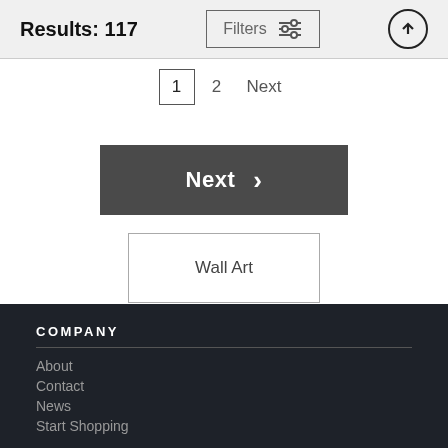Results: 117
Filters
1  2  Next
Next >
Wall Art
COMPANY
About
Contact
News
Start Shopping